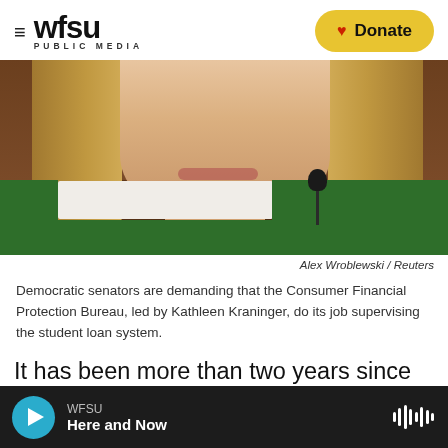WFSU PUBLIC MEDIA
[Figure (photo): Woman with long blonde hair seated at a hearing table with green tablecloth, facing down, microphone in front of her. Photo credit: Alex Wroblewski / Reuters]
Alex Wroblewski / Reuters
Democratic senators are demanding that the Consumer Financial Protection Bureau, led by Kathleen Kraninger, do its job supervising the student loan system.
It has been more than two years since the nation's most powerful financial watchdog examined the companies that manage about $1.5 trillion of